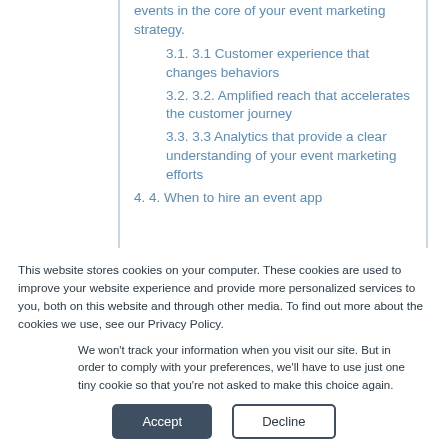events in the core of your event marketing strategy.
3.1. 3.1 Customer experience that changes behaviors
3.2. 3.2. Amplified reach that accelerates the customer journey
3.3. 3.3 Analytics that provide a clear understanding of your event marketing efforts
4. 4. When to hire an event app
This website stores cookies on your computer. These cookies are used to improve your website experience and provide more personalized services to you, both on this website and through other media. To find out more about the cookies we use, see our Privacy Policy.
We won't track your information when you visit our site. But in order to comply with your preferences, we'll have to use just one tiny cookie so that you're not asked to make this choice again.